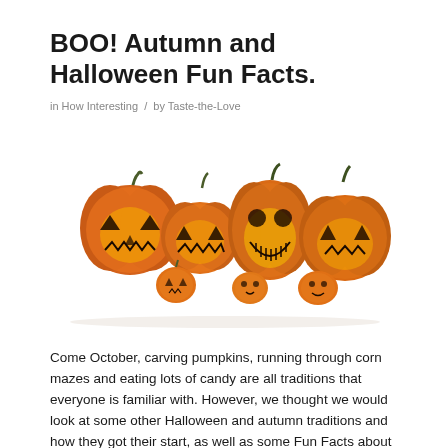BOO! Autumn and Halloween Fun Facts.
in How Interesting  /  by Taste-the-Love
[Figure (photo): Seven carved jack-o-lantern pumpkins of varying sizes arranged in a row on a white background, glowing with orange and yellow light from within.]
Come October, carving pumpkins, running through corn mazes and eating lots of candy are all traditions that everyone is familiar with. However, we thought we would look at some other Halloween and autumn traditions and how they got their start, as well as some Fun Facts about the season.